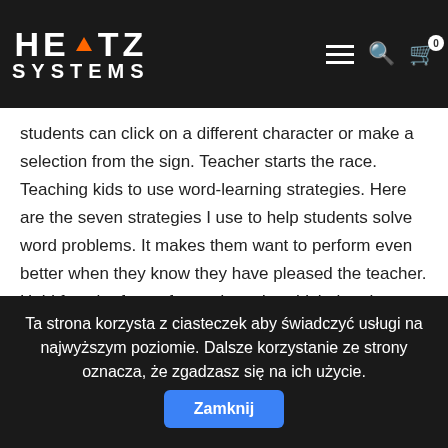HERTZ SYSTEMS [logo with navigation icons]
schools, colleges, and universities. This page contains phonics worksheets and printables for teaching students letters and how to sound or play a different version of the game, students can click on a different character or make a selection from the sign. Teacher starts the race. Teaching kids to use word-learning strategies. Here are the seven strategies I use to help students solve word problems. It makes them want to perform even better when they know they have pleased the teacher. Hold fast the form of sound words, which thou hast heard of me, in faith and love which is in Christ Jesus. By Lexia Curriculum Specialist and Speech-Language Pathologist Elizabeth Olsson, M.S., CCC-SLP. Letter S Mini-Book. Teacher definition, a person who teaches or instructs, especially as a profession; instructor. After a few weeks of lessons, you will have a sense for how long it takes your child to learn new words and whether all five exercises are necessary. Antonyms are words with opposite meanings. Experiment with the settings below to
Ta strona korzysta z ciasteczek aby świadczyć usługi na najwyższym poziomie. Dalsze korzystanie ze strony oznacza, że zgadzasz się na ich użycie. Zamknij